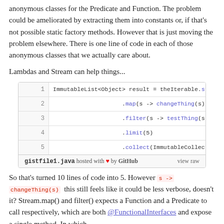anonymous classes for the Predicate and Function. The problem could be ameliorated by extracting them into constants or, if that's not possible static factory methods. However that is just moving the problem elsewhere. There is one line of code in each of those anonymous classes that we actually care about.
Lambdas and Stream can help things...
[Figure (screenshot): Code snippet in a GitHub Gist box showing 5 lines of Java code using streams: ImmutableList<Object> result = theIterable.stream() .map(s -> changeThing(s)) .filter(s -> testThing(s)) .limit(5) .collect(ImmutableCollectors.toList(, footer: gistfile1.java hosted with heart by GitHub, view raw]
So that's turned 10 lines of code into 5. However s -> changeThing(s) this still feels like it could be less verbose, doesn't it? Stream.map() and filter() expects a Function and a Predicate to call respectively, which are both @FunctionalInterfaces and expose a single method. In which